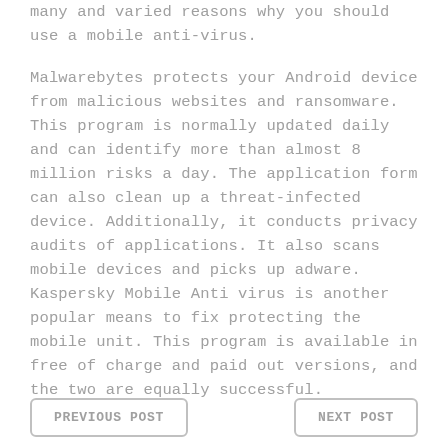many and varied reasons why you should use a mobile anti-virus.
Malwarebytes protects your Android device from malicious websites and ransomware. This program is normally updated daily and can identify more than almost 8 million risks a day. The application form can also clean up a threat-infected device. Additionally, it conducts privacy audits of applications. It also scans mobile devices and picks up adware. Kaspersky Mobile Anti virus is another popular means to fix protecting the mobile unit. This program is available in free of charge and paid out versions, and the two are equally successful.
PREVIOUS POST  |  NEXT POST